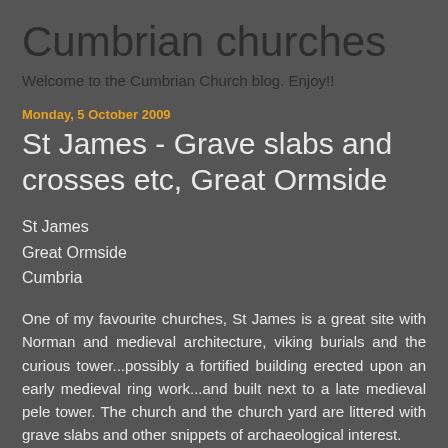Cumbrian churches
Welcome to the Cumbrian Church blog. Enjoy!!
Monday, 5 October 2009
St James - Grave slabs and crosses etc, Great Ormside
St James
Great Ormside
Cumbria
One of my favourite churches, St James is a great site with Norman and medieval architecture, viking burials and the curious tower...possibly a fortified building erected upon an early medieval ring work...and built next to a late medieval pele tower. The church and the church yard are littered with grave slabs and other snippets of archaeological interest.